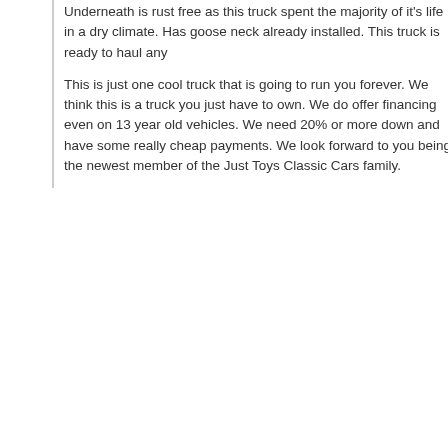Underneath is rust free as this truck spent the majority of it's life in a dry climate. Has goose neck already installed. This truck is ready to haul any
This is just one cool truck that is going to run you forever. We think this is a truck you just have to own. We do offer financing even on 13 year old vehicles. We need 20% or more down and have some really cheap payments. We look forward to you being the newest member of the Just Toys Classic Cars family.